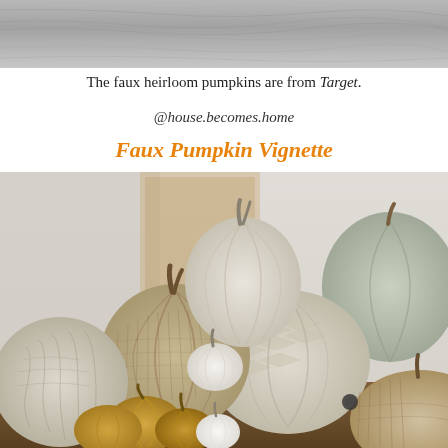[Figure (photo): Top portion of a decorative scene photo, grayscale/muted tones showing what appears to be a surface or water reflection]
The faux heirloom pumpkins are from Target.
@house.becomes.home
Faux Pumpkin Vignette
[Figure (photo): A styled vignette of multiple faux pumpkins in various textures including burlap, knit/herringbone, and solid white and sage green, arranged on a white marble cake stand with gold metallic pumpkins in the foreground, on a wooden surface]